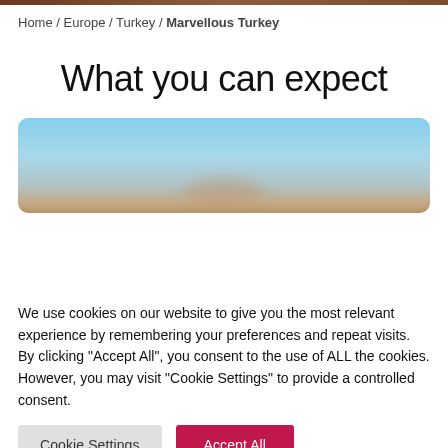Home / Europe / Turkey / Marvellous Turkey
What you can expect
[Figure (photo): Partial view of a sky with light blue tones and a blurred landscape below, partially obscured by cookie consent overlay.]
We use cookies on our website to give you the most relevant experience by remembering your preferences and repeat visits. By clicking “Accept All”, you consent to the use of ALL the cookies. However, you may visit “Cookie Settings” to provide a controlled consent.
Cookie Settings | Accept All